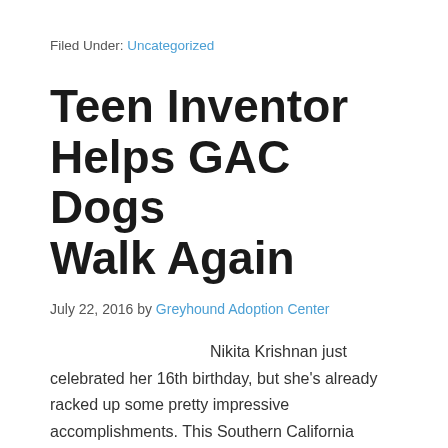Filed Under: Uncategorized
Teen Inventor Helps GAC Dogs Walk Again
July 22, 2016 by Greyhound Adoption Center
Nikita Krishnan just celebrated her 16th birthday, but she's already racked up some pretty impressive accomplishments. This Southern California teen…